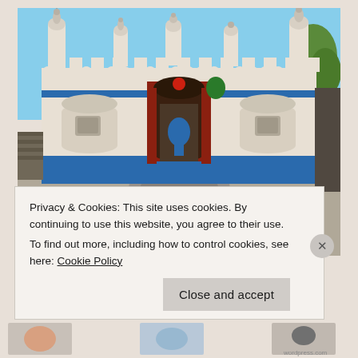[Figure (photo): Photograph of a white-washed Indian temple or shrine building with blue painted lower walls and decorative blue stripe near the top. The structure has multiple ornamental spires (shikharas), a central arched red-trimmed entrance doorway, and two arched niches on either side. The facade features crenellated parapet walls. The foreground shows a stone-paved courtyard.]
Privacy & Cookies: This site uses cookies. By continuing to use this website, you agree to their use.
To find out more, including how to control cookies, see here: Cookie Policy